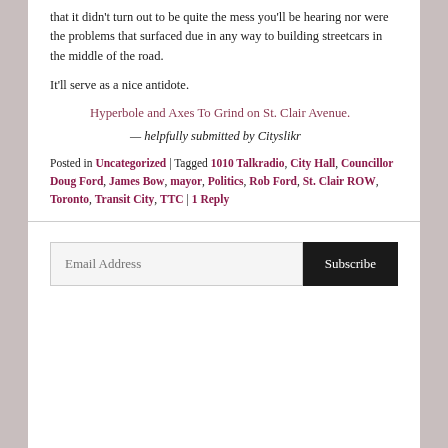that it didn't turn out to be quite the mess you'll be hearing nor were the problems that surfaced due in any way to building streetcars in the middle of the road.
It'll serve as a nice antidote.
Hyperbole and Axes To Grind on St. Clair Avenue.
— helpfully submitted by Cityslikr
Posted in Uncategorized | Tagged 1010 Talkradio, City Hall, Councillor Doug Ford, James Bow, mayor, Politics, Rob Ford, St. Clair ROW, Toronto, Transit City, TTC | 1 Reply